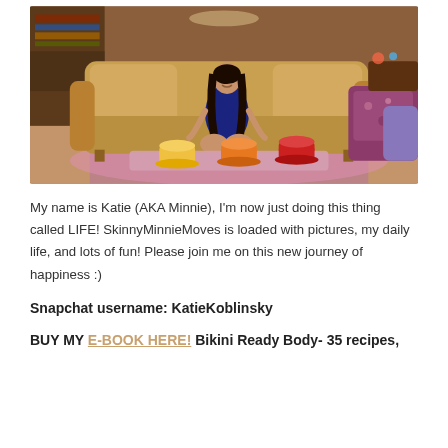[Figure (photo): A young woman with long dark hair sitting on a large tan/golden velvet couch in a colorful café-like interior setting (resembling the Central Perk set from Friends). Large colorful mugs are on the coffee table in front. The room has patterned chairs, warm lighting, and a vibrant ambiance.]
My name is Katie (AKA Minnie), I'm now just doing this thing called LIFE! SkinnyMinnieMoves is loaded with pictures, my daily life, and lots of fun! Please join me on this new journey of happiness :)
Snapchat username: KatieKoblinsky
BUY MY E-BOOK HERE! Bikini Ready Body- 35 recipes,